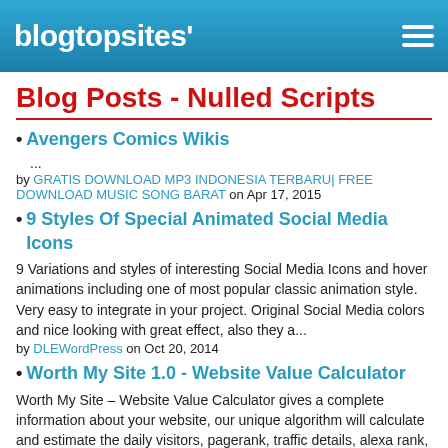blogtopsites'
Blog Posts - Nulled Scripts
Avengers Comics Wikis
...
by GRATIS DOWNLOAD MP3 INDONESIA TERBARU| FREE DOWNLOAD MUSIC SONG BARAT on Apr 17, 2015
9 Styles Of Special Animated Social Media Icons
9 Variations and styles of interesting Social Media Icons and hover animations including one of most popular classic animation style. Very easy to integrate in your project. Original Social Media colors and nice looking with great effect, also they a...
by DLEWordPress on Oct 20, 2014
Worth My Site 1.0 - Website Value Calculator
Worth My Site – Website Value Calculator gives a complete information about your website, our unique algorithm will calculate and estimate the daily visitors, pagerank, traffic details, alexa rank, google page rank, WHOIS info, host information and...
by DLEWordPress on Oct 20, 2014
Facebook Puzzle Game Contest Application 1.8
Facebook Puzzle Contest Game Application is designed for brands those want to...